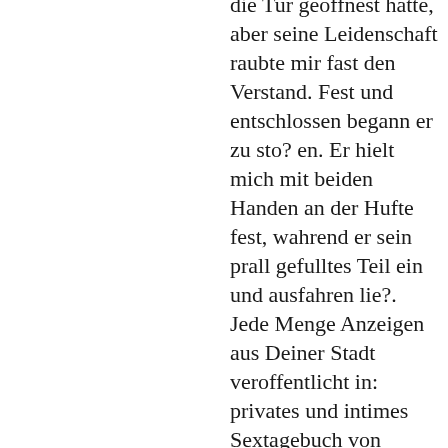die Tur geoffnest hatte, aber seine Leidenschaft raubte mir fast den Verstand. Fest und entschlossen begann er zu sto? en. Er hielt mich mit beiden Handen an der Hufte fest, wahrend er sein prall gefulltes Teil ein und ausfahren lie?. Jede Menge Anzeigen aus Deiner Stadt veroffentlicht in: privates und intimes Sextagebuch von Stella-Felia schΓ¶ne texte partnersuche singlespeed fahrrad salzburg